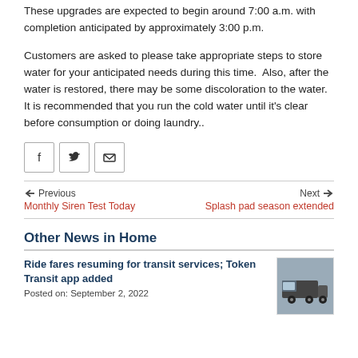These upgrades are expected to begin around 7:00 a.m. with completion anticipated by approximately 3:00 p.m.
Customers are asked to please take appropriate steps to store water for your anticipated needs during this time.  Also, after the water is restored, there may be some discoloration to the water. It is recommended that you run the cold water until it's clear before consumption or doing laundry..
[Figure (infographic): Social share buttons: Facebook, Twitter, Email]
Previous
Monthly Siren Test Today
Next
Splash pad season extended
Other News in Home
Ride fares resuming for transit services; Token Transit app added
Posted on: September 2, 2022
[Figure (photo): Photo of a transit bus truck in snowy/winter conditions]